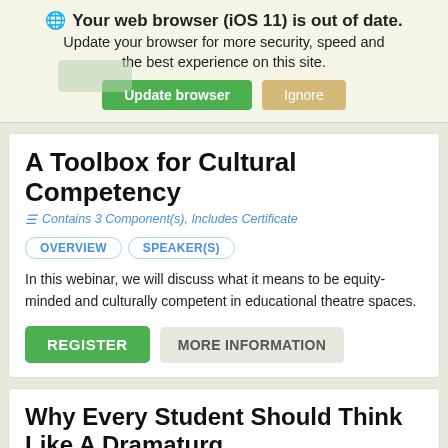🌐 Your web browser (iOS 11) is out of date. Update your browser for more security, speed and the best experience on this site.
Update browser | Ignore
A Toolbox for Cultural Competency
☰ Contains 3 Component(s), Includes Certificate
OVERVIEW | SPEAKER(S)
In this webinar, we will discuss what it means to be equity-minded and culturally competent in educational theatre spaces.
REGISTER | MORE INFORMATION
Why Every Student Should Think Like A Dramaturg
☰ Contains 3 Component(s), Includes Certificate